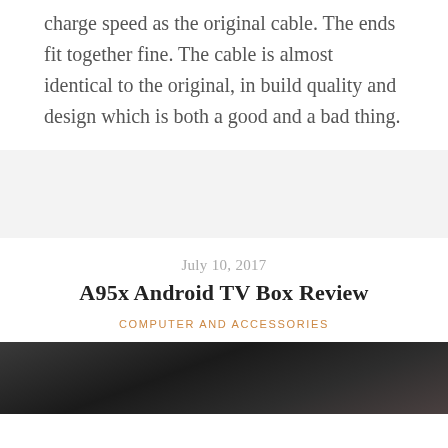charge speed as the original cable. The ends fit together fine. The cable is almost identical to the original, in build quality and design which is both a good and a bad thing.
July 10, 2017
A95x Android TV Box Review
COMPUTER AND ACCESSORIES
[Figure (photo): Dark textured background image at the bottom of the page, appears to be a product photo partially visible]